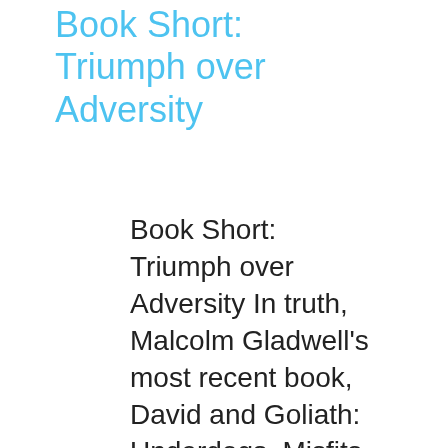Book Short: Triumph over Adversity
Book Short: Triumph over Adversity In truth, Malcolm Gladwell's most recent book, David and Goliath: Underdogs, Misfits, and the Art of Battling Giants, was a bit of a disappointment.  I thought his first three books, Tipping Point, Blink, and Outliers were